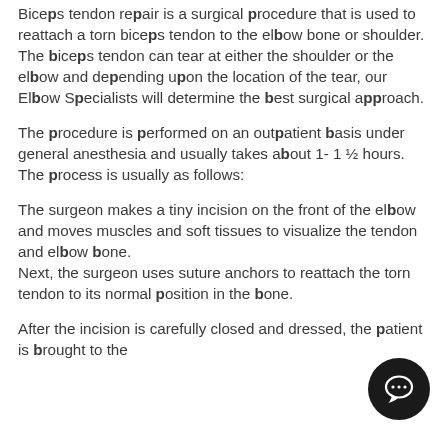Biceps tendon repair is a surgical procedure that is used to reattach a torn biceps tendon to the elbow bone or shoulder. The biceps tendon can tear at either the shoulder or the elbow and depending upon the location of the tear, our Elbow Specialists will determine the best surgical approach.
The procedure is performed on an outpatient basis under general anesthesia and usually takes about 1- 1 ½ hours. The process is usually as follows:
The surgeon makes a tiny incision on the front of the elbow and moves muscles and soft tissues to visualize the tendon and elbow bone.
Next, the surgeon uses suture anchors to reattach the torn tendon to its normal position in the bone.
After the incision is carefully closed and dressed, the patient is brought to the